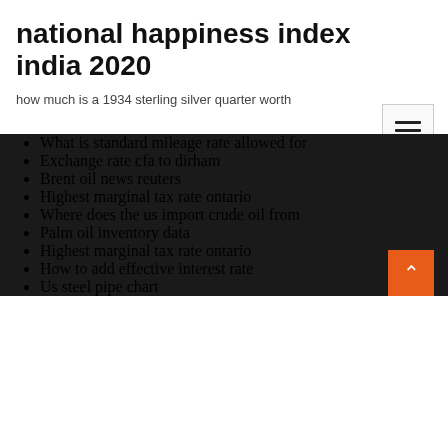national happiness index india 2020
how much is a 1934 sterling silver quarter worth
What is standard mileage rate allowed for
Exchange rate cfa to dirham
Brent oil news reuters
Highest marginal tax rate ontario
Where does the us import crude oil from
Palm oil inventory data
Highest marginal tax rate ontario
How to add effective interest rate
Us steel pipe chart